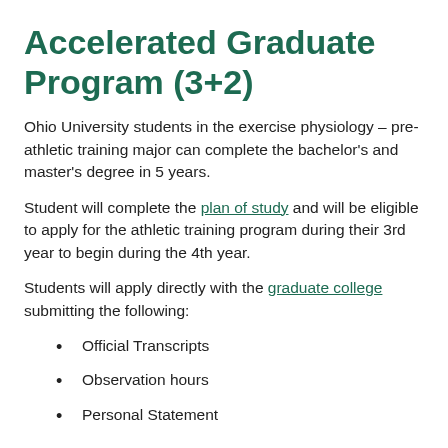Accelerated Graduate Program (3+2)
Ohio University students in the exercise physiology – pre-athletic training major can complete the bachelor's and master's degree in 5 years.
Student will complete the plan of study and will be eligible to apply for the athletic training program during their 3rd year to begin during the 4th year.
Students will apply directly with the graduate college submitting the following:
Official Transcripts
Observation hours
Personal Statement